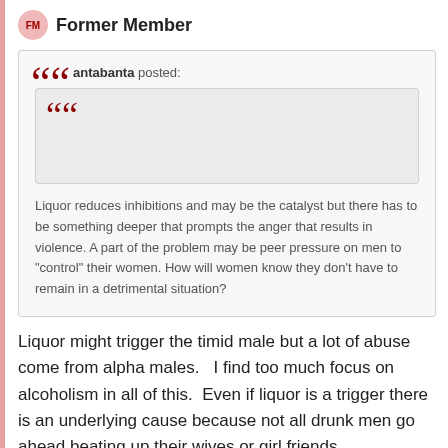Former Member
antabanta posted:
Liquor reduces inhibitions and may be the catalyst but there has to be something deeper that prompts the anger that results in violence. A part of the problem may be peer pressure on men to "control" their women. How will women know they don't have to remain in a detrimental situation?
Liquor might trigger the timid male but a lot of abuse come from alpha males.   I find too much focus on alcoholism in all of this.  Even if liquor is a trigger there is an underlying cause because not all drunk men go ahead beating up their wives or girl friends